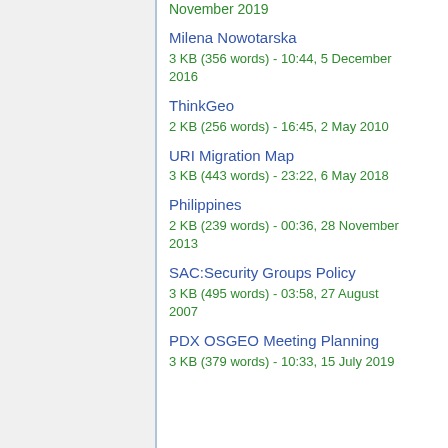November 2019
3 KB (356 words) - 10:44, 5 December 2016
Milena Nowotarska
3 KB (356 words) - 10:44, 5 December 2016
ThinkGeo
2 KB (256 words) - 16:45, 2 May 2010
URI Migration Map
3 KB (443 words) - 23:22, 6 May 2018
Philippines
2 KB (239 words) - 00:36, 28 November 2013
SAC:Security Groups Policy
3 KB (495 words) - 03:58, 27 August 2007
PDX OSGEO Meeting Planning
3 KB (379 words) - 10:33, 15 July 2019